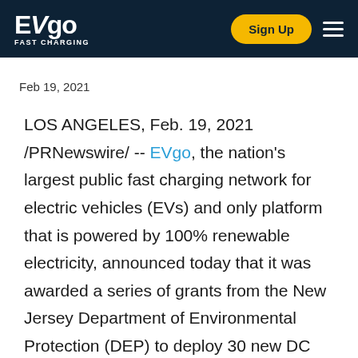EVgo FAST CHARGING | Sign Up
Feb 19, 2021
LOS ANGELES, Feb. 19, 2021 /PRNewswire/ -- EVgo, the nation's largest public fast charging network for electric vehicles (EVs) and only platform that is powered by 100% renewable electricity, announced today that it was awarded a series of grants from the New Jersey Department of Environmental Protection (DEP) to deploy 30 new DC fast